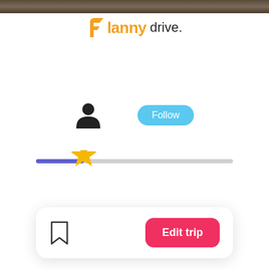[Figure (screenshot): Planny drive app UI screenshot showing logo, user profile icon with Follow button, a star rating slider, and an Edit trip button with bookmark icon]
Planny drive.
[Figure (infographic): User person icon and blue Follow button side by side]
[Figure (infographic): Star rating slider with purple filled section and star icon on grey track]
[Figure (infographic): Bottom card with bookmark icon and red Edit trip button]